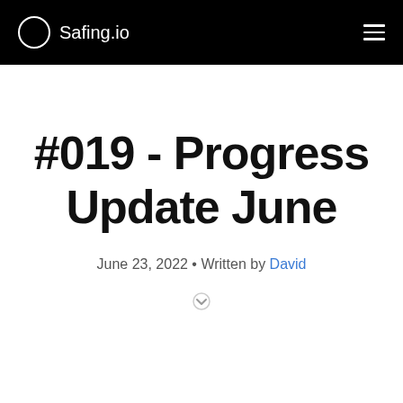Safing.io
#019 - Progress Update June
June 23, 2022 • Written by David